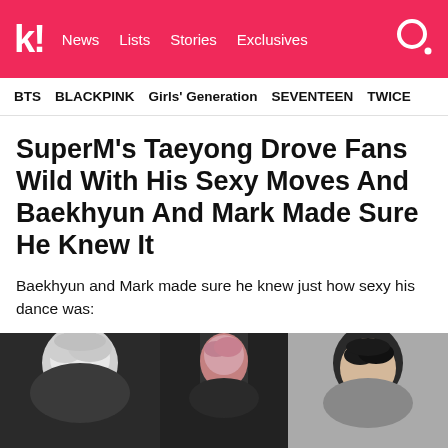k! News Lists Stories Exclusives
BTS  BLACKPINK  Girls' Generation  SEVENTEEN  TWICE
SuperM's Taeyong Drove Fans Wild With His Sexy Moves And Baekhyun And Mark Made Sure He Knew It
Baekhyun and Mark made sure he knew just how sexy his dance was:
[Figure (photo): Three male K-pop performers side by side — left person with white/platinum hair, center person with pink hair on stage, right person with dark hair against light background]